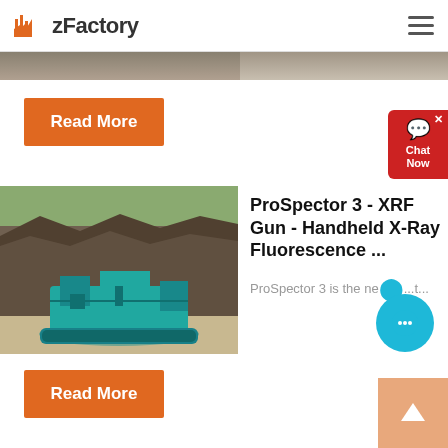zFactory
[Figure (screenshot): Gray rocky/stone textured banner image strip at top of page]
Read More
ProSpector 3 - XRF Gun - Handheld X-Ray Fluorescence ...
[Figure (photo): Teal/blue tracked mobile crushing machine in a rocky quarry setting]
ProSpector 3 is the ne...t...
Read More